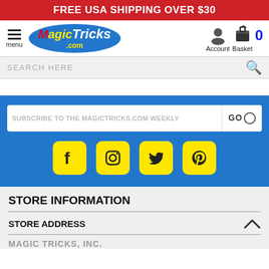FREE USA SHIPPING OVER $30
[Figure (logo): MagicTricks.com logo in blue oval with hamburger menu and Account/Basket nav icons]
SEARCH HERE
SUBSCRIBE TO THE MAGICTRICKS.COM WEEKLY GO
[Figure (illustration): Social media icons: Facebook, Instagram, Twitter, Pinterest in yellow rounded squares]
STORE INFORMATION
STORE ADDRESS
MAGIC TRICKS, INC.